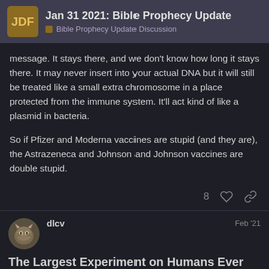Jan 31 2021: Bible Prophecy Update | Bible Prophecy Update Discussion
message. It stays there, and we don't know how long it stays there. It may never insert into your actual DNA but it will still be treated like a small extra chromosome in a place protected from the immune system. It'll act kind of like a plasmid in bacteria.

So if Pfizer and Moderna vaccines are stupid (and they are), the Astrazeneca and Johnson and Johnson vaccines are double stupid.
8 ♡ 🔗
dlcv — Feb '21
The Largest Experiment on Humans Ever Seen
theblogmire.com – 30 Jan 21   54 / 321